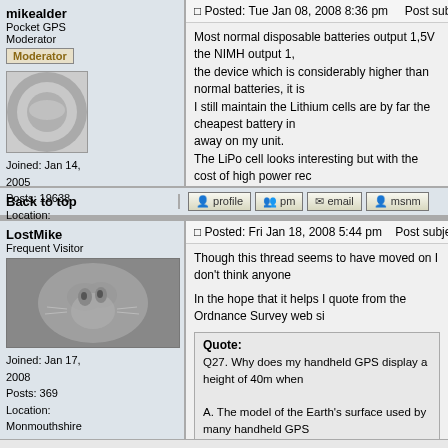mikealder
Pocket GPS
Moderator
[Moderator]
Joined: Jan 14, 2005
Posts: 19638
Location: Blackpool , Lancs
Posted: Tue Jan 08, 2008 8:36 pm    Post subject:
Most normal disposable batteries output 1,5V the NIMH output 1, the device which is considerably higher than normal batteries, it is I still maintain the Lithium cells are by far the cheapest battery in away on my unit. The LiPo cell looks interesting but with the cost of high power rec cells in a box designed to carry them when setting out for a coupl
Back to top
profile   pm   email   msnm
LostMike
Frequent Visitor
Joined: Jan 17, 2008
Posts: 369
Location: Monmouthshire
Posted: Fri Jan 18, 2008 5:44 pm    Post subject: Altitude Discrepancy
Though this thread seems to have moved on I don't think anyone
In the hope that it helps I quote from the Ordnance Survey web si
Quote:
Q27. Why does my handheld GPS display a height of 40m when

A. The model of the Earth's surface used by many handheld GPS Great Britain very well resulting in a height discrepancy. Height is Unquote.